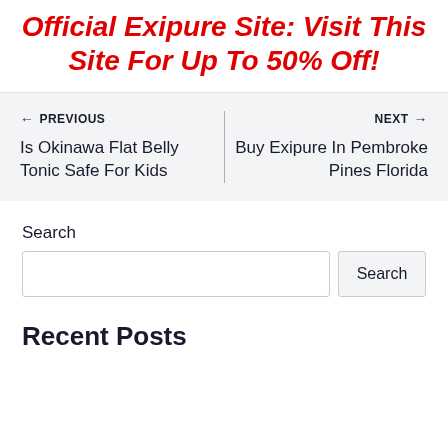Official Exipure Site: Visit This Site For Up To 50% Off!
← PREVIOUS
Is Okinawa Flat Belly Tonic Safe For Kids
NEXT →
Buy Exipure In Pembroke Pines Florida
Search
Recent Posts